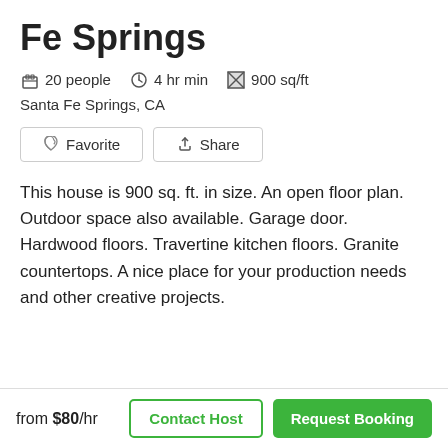Fe Springs
20 people   4 hr min   900 sq/ft
Santa Fe Springs, CA
Favorite   Share
This house is 900 sq. ft. in size. An open floor plan. Outdoor space also available. Garage door. Hardwood floors. Travertine kitchen floors. Granite countertops. A nice place for your production needs and other creative projects.
from $80/hr   Contact Host   Request Booking